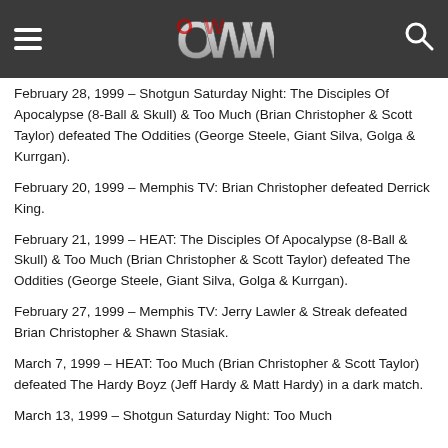OWW logo, hamburger menu, search icon
February 28, 1999 – Shotgun Saturday Night: The Disciples Of Apocalypse (8-Ball & Skull) & Too Much (Brian Christopher & Scott Taylor) defeated The Oddities (George Steele, Giant Silva, Golga & Kurrgan).
February 20, 1999 – Memphis TV: Brian Christopher defeated Derrick King.
February 21, 1999 – HEAT: The Disciples Of Apocalypse (8-Ball & Skull) & Too Much (Brian Christopher & Scott Taylor) defeated The Oddities (George Steele, Giant Silva, Golga & Kurrgan).
February 27, 1999 – Memphis TV: Jerry Lawler & Streak defeated Brian Christopher & Shawn Stasiak.
March 7, 1999 – HEAT: Too Much (Brian Christopher & Scott Taylor) defeated The Hardy Boyz (Jeff Hardy & Matt Hardy) in a dark match.
March 13, 1999 – Shotgun Saturday Night: Too Much